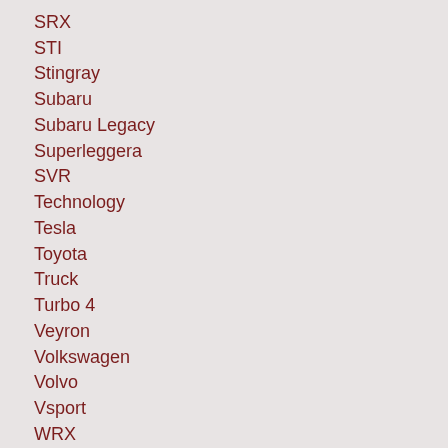SRX
STI
Stingray
Subaru
Subaru Legacy
Superleggera
SVR
Technology
Tesla
Toyota
Truck
Turbo 4
Veyron
Volkswagen
Volvo
Vsport
WRX
XLR
Z/28
ZL1